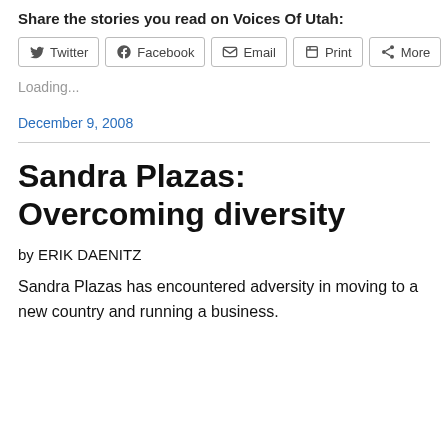Share the stories you read on Voices Of Utah:
Twitter | Facebook | Email | Print | More
Loading...
December 9, 2008
Sandra Plazas: Overcoming diversity
by ERIK DAENITZ
Sandra Plazas has encountered adversity in moving to a new country and running a business.